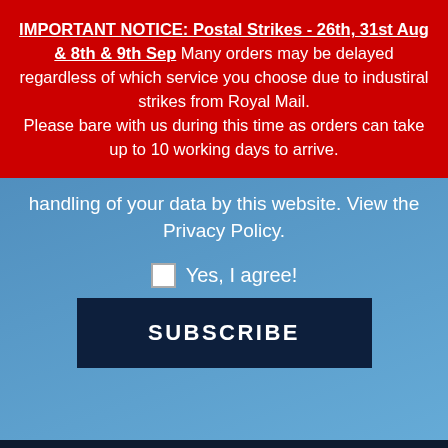IMPORTANT NOTICE: Postal Strikes - 26th, 31st Aug & 8th & 9th Sep Many orders may be delayed regardless of which service you choose due to industiral strikes from Royal Mail. Please bare with us during this time as orders can take up to 10 working days to arrive.
handling of your data by this website. View the Privacy Policy.
Yes, I agree!
SUBSCRIBE
This website uses cookies to ensure you get the best experience on our website. Details can be found in our Privacy Policy
Got it!